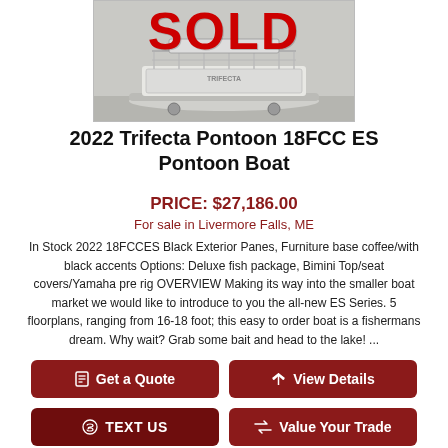[Figure (photo): Photo of a pontoon boat with a red SOLD overlay stamp on top]
2022 Trifecta Pontoon 18FCC ES Pontoon Boat
PRICE: $27,186.00
For sale in Livermore Falls, ME
In Stock 2022 18FCCES Black Exterior Panes, Furniture base coffee/with black accents Options: Deluxe fish package, Bimini Top/seat covers/Yamaha pre rig OVERVIEW Making its way into the smaller boat market we would like to introduce to you the all-new ES Series. 5 floorplans, ranging from 16-18 foot; this easy to order boat is a fishermans dream. Why wait? Grab some bait and head to the lake! ...
Get a Quote
View Details
TEXT US
Value Your Trade